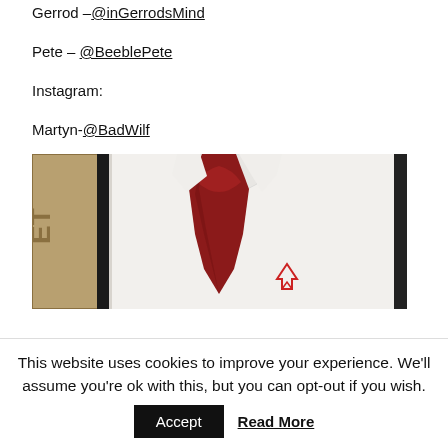Gerrod – @inGerrodsMind
Pete – @BeeblePete
Instagram:
Martyn-@BadWilf
[Figure (photo): Photo of a person wearing a white dress shirt with a dark red/burgundy tie, seen from neck to waist. A red logo is visible on the lower right of the shirt.]
This website uses cookies to improve your experience. We'll assume you're ok with this, but you can opt-out if you wish.
Accept   Read More